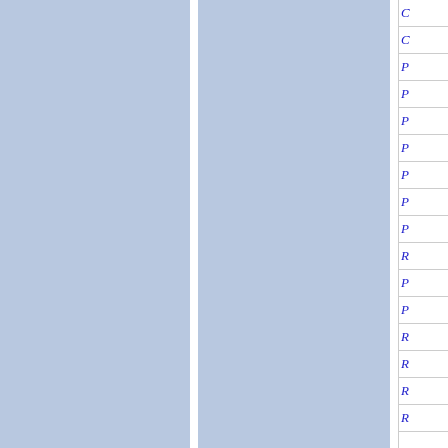[Figure (other): Page showing a two-column layout with blue-gray background panels separated by a white vertical divider, and a right sidebar with italic blue letter labels (C, C, P, P, P, P, P, P, P, R, P, P, R, R, R, R) separated by horizontal lines on white background]
C
C
P
P
P
P
P
P
P
R
P
P
R
R
R
R